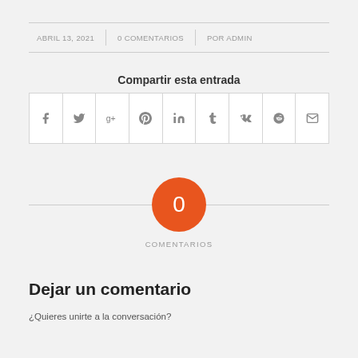ABRIL 13, 2021 | 0 COMENTARIOS | POR ADMIN
Compartir esta entrada
[Figure (infographic): Social share buttons row: Facebook, Twitter, Google+, Pinterest, LinkedIn, Tumblr, VK, Reddit, Email]
[Figure (infographic): Orange circle with number 0 and label COMENTARIOS below]
Dejar un comentario
¿Quieres unirte a la conversación?